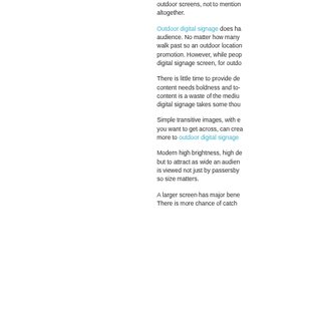outdoor screens, not to mention altogether.
Outdoor digital signage does ha audience. No matter how many walk past so an outdoor location promotion. However, while peop digital signage screen, for outdo
There is little time to provide de content needs boldness and to- content is a waste of the mediu digital signage takes some thou
Simple transitive images, with e you want to get across, can crea more to outdoor digital signage
Modern high brightness, high de but to attract as wide an audien is viewed not just by passersby so size matters.
A larger screen has major bene There is more chance of catch